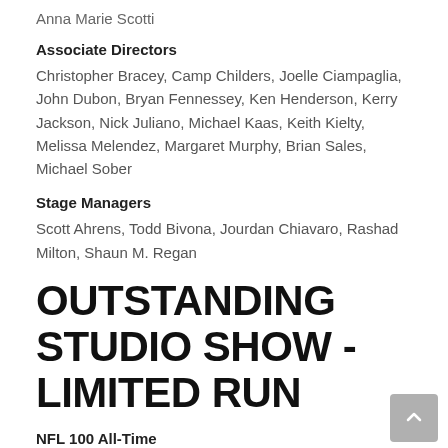Anna Marie Scotti
Associate Directors
Christopher Bracey, Camp Childers, Joelle Ciampaglia, John Dubon, Bryan Fennessey, Ken Henderson, Kerry Jackson, Nick Juliano, Michael Kaas, Keith Kielty, Melissa Melendez, Margaret Murphy, Brian Sales, Michael Sober
Stage Managers
Scott Ahrens, Todd Bivona, Jourdan Chiavaro, Rashad Milton, Shaun M. Regan
OUTSTANDING STUDIO SHOW - LIMITED RUN
NFL 100 All-Time
Team    NFL